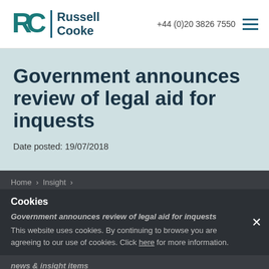Russell Cooke | +44 (0)20 3826 7550
Government announces review of legal aid for inquests
Date posted: 19/07/2018
Home > Insight >
Cookies
Government announces review of legal aid for inquests
This website uses cookies. By continuing to browse you are agreeing to our use of cookies. Click here for more information.
news & insight items